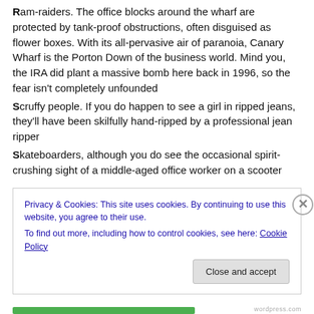Ram-raiders. The office blocks around the wharf are protected by tank-proof obstructions, often disguised as flower boxes. With its all-pervasive air of paranoia, Canary Wharf is the Porton Down of the business world. Mind you, the IRA did plant a massive bomb here back in 1996, so the fear isn't completely unfounded
Scruffy people. If you do happen to see a girl in ripped jeans, they'll have been skilfully hand-ripped by a professional jean ripper
Skateboarders, although you do see the occasional spirit-crushing sight of a middle-aged office worker on a scooter
Privacy & Cookies: This site uses cookies. By continuing to use this website, you agree to their use.
To find out more, including how to control cookies, see here: Cookie Policy
Close and accept
wordpress.com